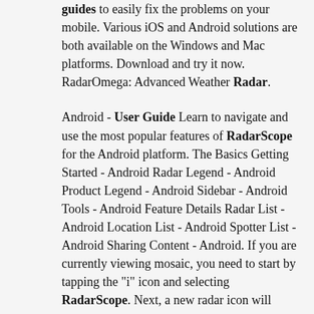guides to easily fix the problems on your mobile. Various iOS and Android solutions are both available on the Windows and Mac platforms. Download and try it now. RadarOmega: Advanced Weather Radar.
Android - User Guide Learn to navigate and use the most popular features of RadarScope for the Android platform. The Basics Getting Started - Android Radar Legend - Android Product Legend - Android Sidebar - Android Tools - Android Feature Details Radar List - Android Location List - Android Spotter List - Android Sharing Content - Android. If you are currently viewing mosaic, you need to start by tapping the "i" icon and selecting RadarScope. Next, a new radar icon will show up. Touch that to bring up the radar identification tags in the area you are observing. Select a point to see...